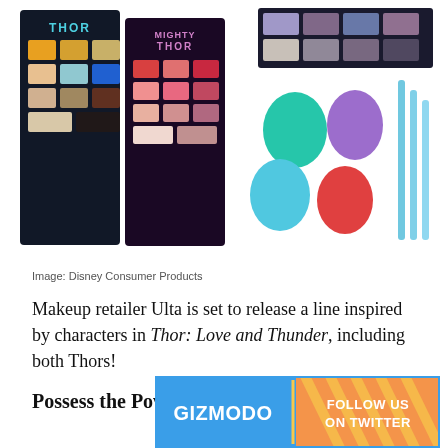[Figure (photo): Two Thor and Mighty Thor makeup eyeshadow palettes on left, and beauty blender sponges with makeup brushes on right — Ulta x Thor: Love and Thunder product lineup]
Image: Disney Consumer Products
Makeup retailer Ulta is set to release a line inspired by characters in Thor: Love and Thunder, including both Thors!
Possess the Power of Thor
[Figure (photo): Partial product image of Thor hammer-shaped makeup tool handle, silver, with Gizmodo Follow Us on Twitter banner overlay]
[Figure (screenshot): Gizmodo Follow Us on Twitter banner advertisement in blue with orange/yellow diagonal stripe pattern]